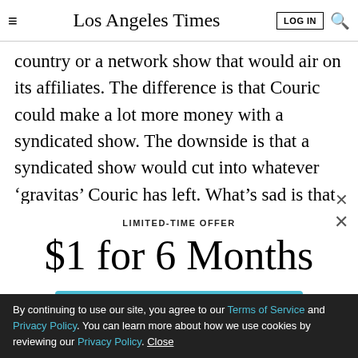Los Angeles Times
country or a network show that would air on its affiliates. The difference is that Couric could make a lot more money with a syndicated show. The downside is that a syndicated show would cut into whatever ‘gravitas’ Couric has left. What’s sad is that ABC could
LIMITED-TIME OFFER
$1 for 6 Months
SUBSCRIBE NOW
By continuing to use our site, you agree to our Terms of Service and Privacy Policy. You can learn more about how we use cookies by reviewing our Privacy Policy. Close